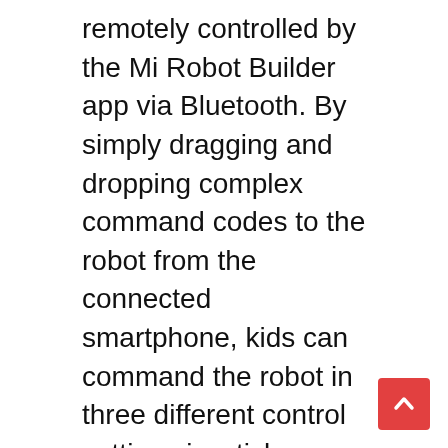remotely controlled by the Mi Robot Builder app via Bluetooth. By simply dragging and dropping complex command codes to the robot from the connected smartphone, kids can command the robot in three different control settings joystick, gyroscope and route control and can also create their own set of instructions for the robot to follow.
[bs-quote quote="You will never change your life until you change something you do daily. The secret of your success is found in your daily routine." style="style-23" align="left" color="#000000" author_name="Darren Hardy" author_job="American Author" author_avatar="https://krishikhoborbd.com/wp-content/uploads/2018/11/online-magazine-